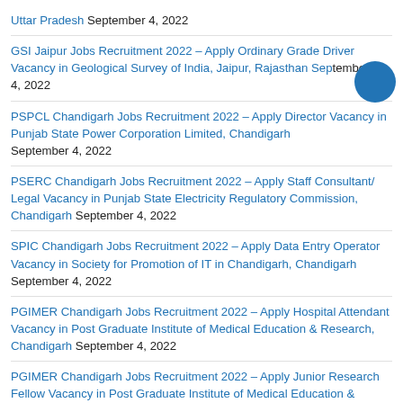Uttar Pradesh September 4, 2022
GSI Jaipur Jobs Recruitment 2022 – Apply Ordinary Grade Driver Vacancy in Geological Survey of India, Jaipur, Rajasthan September 4, 2022
PSPCL Chandigarh Jobs Recruitment 2022 – Apply Director Vacancy in Punjab State Power Corporation Limited, Chandigarh September 4, 2022
PSERC Chandigarh Jobs Recruitment 2022 – Apply Staff Consultant/ Legal Vacancy in Punjab State Electricity Regulatory Commission, Chandigarh September 4, 2022
SPIC Chandigarh Jobs Recruitment 2022 – Apply Data Entry Operator Vacancy in Society for Promotion of IT in Chandigarh, Chandigarh September 4, 2022
PGIMER Chandigarh Jobs Recruitment 2022 – Apply Hospital Attendant Vacancy in Post Graduate Institute of Medical Education & Research, Chandigarh September 4, 2022
PGIMER Chandigarh Jobs Recruitment 2022 – Apply Junior Research Fellow Vacancy in Post Graduate Institute of Medical Education & Research, Chandigarh September 4, 2022
PGIMER Chandigarh Jobs Recruitment 2022 – Apply Lab Technician